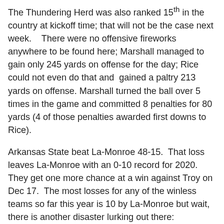The Thundering Herd was also ranked 15th in the country at kickoff time; that will not be the case next week.   There were no offensive fireworks anywhere to be found here; Marshall managed to gain only 245 yards on offense for the day; Rice could not even do that and gained a paltry 213 yards on offense.  Marshall turned the ball over 5 times in the game and committed 8 penalties for 80 yards (4 of those penalties awarded first downs to Rice).
Arkansas State beat La-Monroe 48-15.  That loss leaves La-Monroe with an 0-10 record for 2020.  They get one more chance at a win against Troy on Dec 17.  The most losses for any of the winless teams so far this year is 10 by La-Monroe but wait, there is another disaster lurking out there:
Vandy is 0-8 with games against Tennessee this week and Georgia next week.